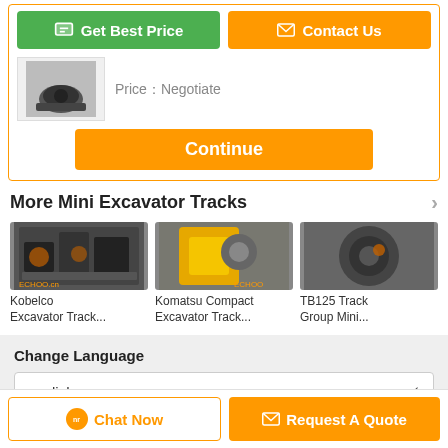[Figure (screenshot): Get Best Price (green button) and Contact Us (orange button) at top of product card]
Price：Negotiate
[Figure (photo): Small product image of excavator track/motor component]
[Figure (screenshot): Continue orange button]
More  Mini Excavator Tracks
[Figure (photo): Kobelco Excavator Track product thumbnail]
Kobelco Excavator Track...
[Figure (photo): Komatsu Compact Excavator Track product thumbnail]
Komatsu Compact Excavator Track...
[Figure (photo): TB125 Track Group Mini product thumbnail]
TB125 Track Group Mini...
Change Language
english
[Figure (screenshot): Chat Now button (white with orange border) and Request A Quote button (orange)]